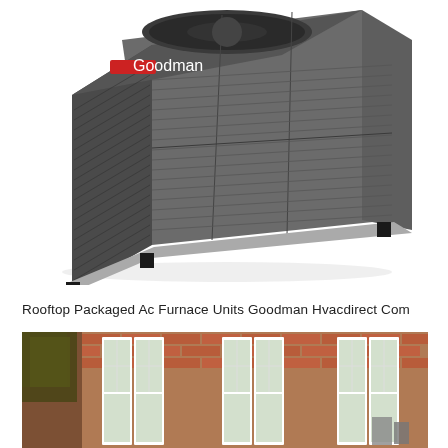[Figure (photo): Goodman rooftop packaged AC furnace unit — a large grey metal HVAC package unit with louvered panels, top-mounted fan, and black corner legs, photographed at an angle on a white background.]
Rooftop Packaged Ac Furnace Units Goodman Hvacdirect Com
[Figure (photo): Exterior photo of a multi-story red brick building with white-framed windows and trees visible on the left side.]